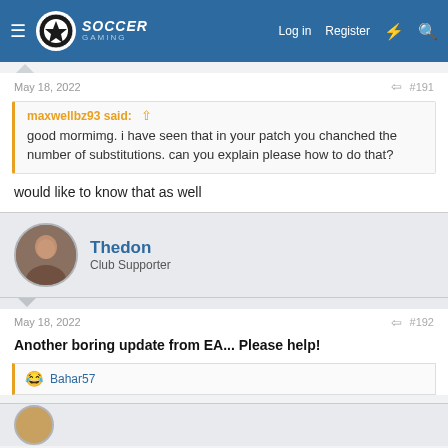Soccer Gaming — Log in | Register
May 18, 2022   #191
maxwellbz93 said: good mormimg. i have seen that in your patch you chanched the number of substitutions. can you explain please how to do that?
would like to know that as well
Thedon — Club Supporter
May 18, 2022   #192
Another boring update from EA... Please help!
Bahar57